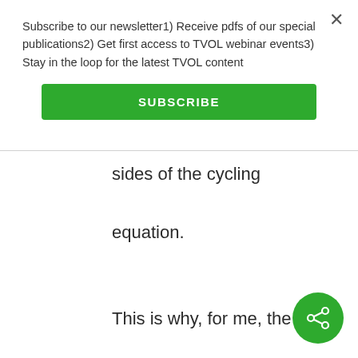Subscribe to our newsletter1) Receive pdfs of our special publications2) Get first access to TVOL webinar events3) Stay in the loop for the latest TVOL content
SUBSCRIBE
sides of the cycling equation.
This is why, for me, the selfish gene concept has no scientifically descriptive or predictive value.